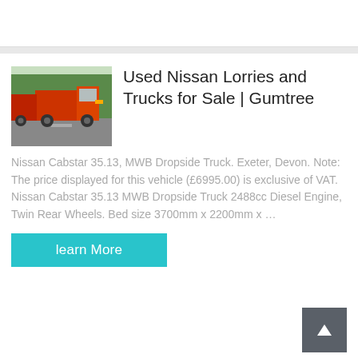[Figure (photo): Photo of red/orange heavy trucks parked on a road with trees in background]
Used Nissan Lorries and Trucks for Sale | Gumtree
Nissan Cabstar 35.13, MWB Dropside Truck. Exeter, Devon. Note: The price displayed for this vehicle (£6995.00) is exclusive of VAT. Nissan Cabstar 35.13 MWB Dropside Truck 2488cc Diesel Engine, Twin Rear Wheels. Bed size 3700mm x 2200mm x …
learn More